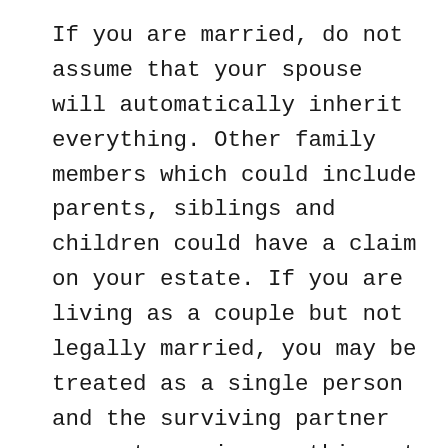If you are married, do not assume that your spouse will automatically inherit everything. Other family members which could include parents, siblings and children could have a claim on your estate. If you are living as a couple but not legally married, you may be treated as a single person and the surviving partner may not receive anything at all from your estate. If you created a Will a long time ago, it most likely needs to be updated to include subsequently born children or grandchildren or to remove persons you no